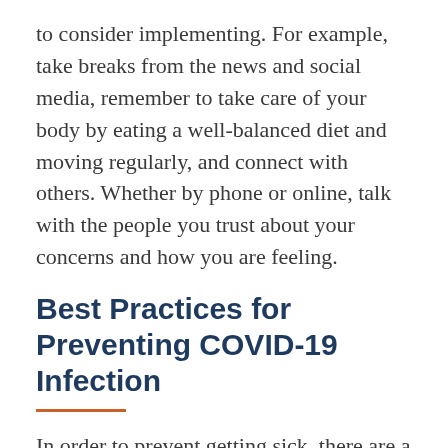to consider implementing. For example, take breaks from the news and social media, remember to take care of your body by eating a well-balanced diet and moving regularly, and connect with others. Whether by phone or online, talk with the people you trust about your concerns and how you are feeling.
Best Practices for Preventing COVID-19 Infection
In order to prevent getting sick, there are a number of steps individuals and households can take to reduce the risk. For starters, it's